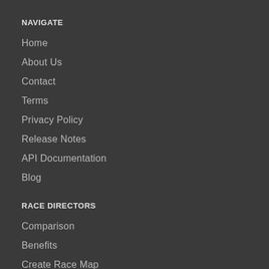NAVIGATE
Home
About Us
Contact
Terms
Privacy Policy
Release Notes
API Documentation
Blog
RACE DIRECTORS
Comparison
Benefits
Create Race Map
How to Organize a 5k
How to Grow Your Race
How to Make a Race Fundraiser